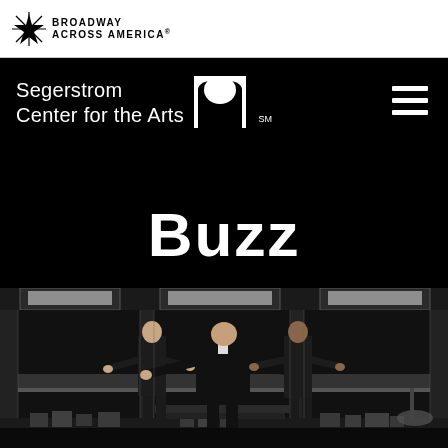[Figure (logo): Broadway Across America logo with star icon in white header bar]
[Figure (logo): Segerstrom Center for the Arts logo — white text with stylized arch icon and SM mark on black background]
Buzz
[Figure (photo): Stage photo of three performers in black suits/coats standing on a minimalist office set with glass walls and fluorescent ceiling lights, arms outstretched]